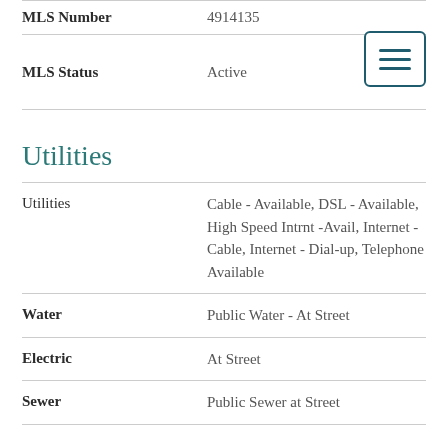| Field | Value |
| --- | --- |
| MLS Number | 4914135 |
| MLS Status | Active |
Utilities
| Field | Value |
| --- | --- |
| Utilities | Cable - Available, DSL - Available, High Speed Intrnt -Avail, Internet - Cable, Internet - Dial-up, Telephone Available |
| Water | Public Water - At Street |
| Electric | At Street |
| Sewer | Public Sewer at Street |
Other
| Field | Value |
| --- | --- |
| Taxes | $1,197 |